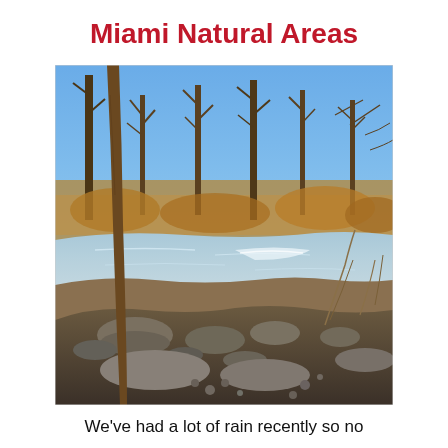Miami Natural Areas
[Figure (photo): Outdoor nature photograph showing a riparian scene with a partially frozen or shallow river/stream, rocky shoreline in the foreground, bare deciduous trees with golden-brown undergrowth in the background, under a clear blue sky. Winter or early spring scene.]
We've had a lot of rain recently so no